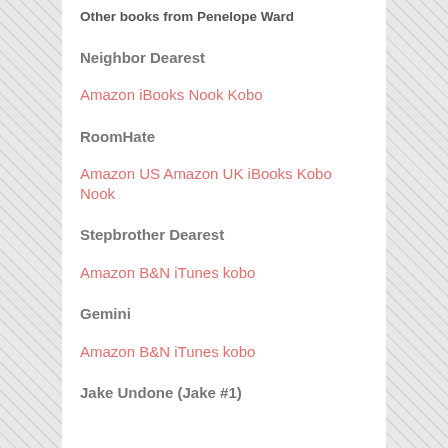Other books from Penelope Ward
Neighbor Dearest
Amazon iBooks Nook Kobo
RoomHate
Amazon US Amazon UK iBooks Kobo Nook
Stepbrother Dearest
Amazon B&N iTunes kobo
Gemini
Amazon B&N iTunes kobo
Jake Undone (Jake #1)